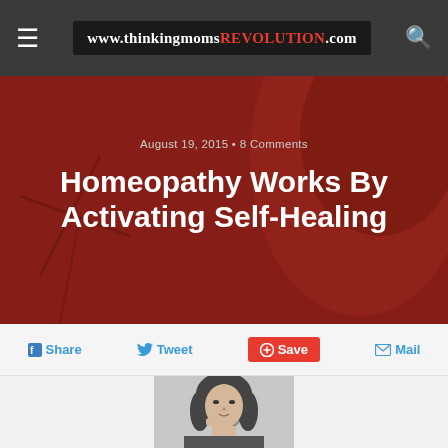www.thinkingmomsREVOLUTION.com
August 19, 2015 • 8 Comments
Homeopathy Works By Activating Self-Healing
Share  Tweet  Save  Mail
[Figure (photo): Black and white portrait photo of a woman with curly hair resting her chin on her hand]